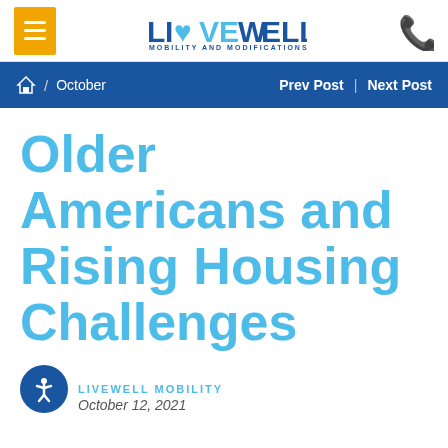LiveWell Mobility and Modifications
Home / October  Prev Post | Next Post
Older Americans and Rising Housing Challenges
LIVEWELL MOBILITY
October 12, 2021